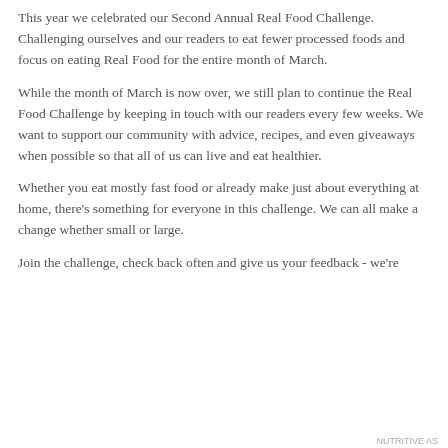This year we celebrated our Second Annual Real Food Challenge. Challenging ourselves and our readers to eat fewer processed foods and focus on eating Real Food for the entire month of March.
While the month of March is now over, we still plan to continue the Real Food Challenge by keeping in touch with our readers every few weeks. We want to support our community with advice, recipes, and even giveaways when possible so that all of us can live and eat healthier.
Whether you eat mostly fast food or already make just about everything at home, there's something for everyone in this challenge. We can all make a change whether small or large.
Join the challenge, check back often and give us your feedback - we're
Privacy & Cookies: This site uses cookies. By continuing to use this website, you agree to their use.
To find out more, including how to control cookies, see here: Cookie Policy
Close and accept
NURTITIVF AS